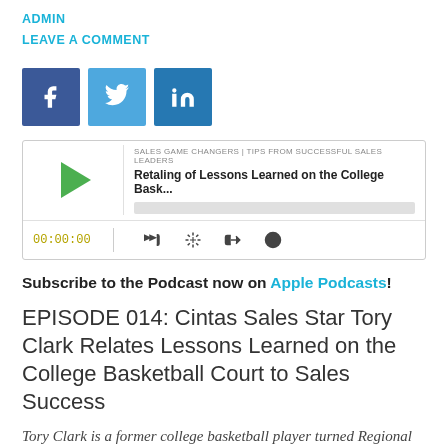ADMIN
LEAVE A COMMENT
[Figure (other): Social share buttons: Facebook (blue), Twitter (light blue), LinkedIn (dark blue)]
[Figure (other): Podcast player widget showing: SALES GAME CHANGERS | TIPS FROM SUCCESSFUL SALES LEADERS, Retaling of Lessons Learned on the College Bask..., time 00:00:00, with play button and controls]
Subscribe to the Podcast now on Apple Podcasts!
EPISODE 014: Cintas Sales Star Tory Clark Relates Lessons Learned on the College Basketball Court to Sales Success
Tory Clark is a former college basketball player turned Regional Sales Training Director for Cintas. He